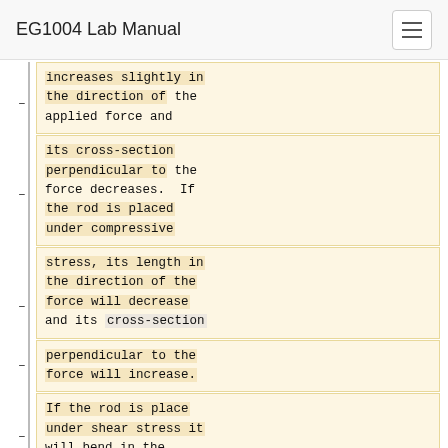EG1004 Lab Manual
increases slightly in the direction of the applied force and
its cross-section perpendicular to the force decreases. If the rod is placed under compressive
stress, its length in the direction of the force will decrease and its cross-section
perpendicular to the force will increase.
If the rod is place under shear stress it will bend in the